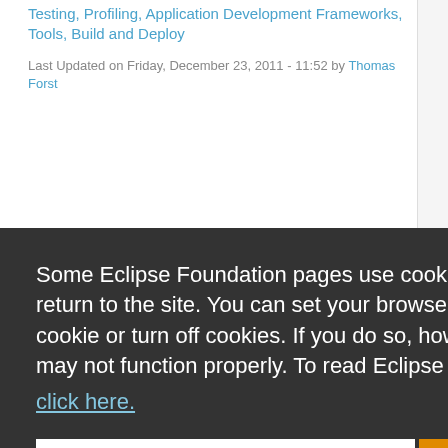Testing, Profiling, Application Development Frameworks, Tools, Build and Deploy
Last Updated on Friday, December 23, 2011 - 11:52 by Thomas Forst
Some Eclipse Foundation pages use cookies to better serve you when you return to the site. You can set your browser to notify you before you receive a cookie or turn off cookies. If you do so, however, some areas of some sites may not function properly. To read Eclipse Foundation Privacy Policy click here.
Decline
Allow cookies
New Relic for Android